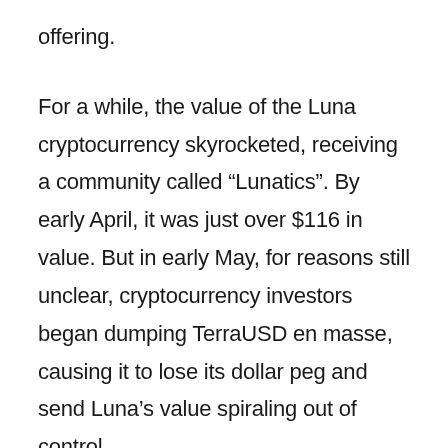offering.
For a while, the value of the Luna cryptocurrency skyrocketed, receiving a community called “Lunatics”. By early April, it was just over $116 in value. But in early May, for reasons still unclear, cryptocurrency investors began dumping TerraUSD en masse, causing it to lose its dollar peg and send Luna’s value spiraling out of control.